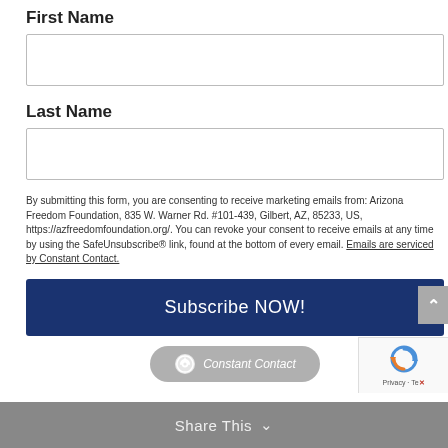First Name
Last Name
By submitting this form, you are consenting to receive marketing emails from: Arizona Freedom Foundation, 835 W. Warner Rd. #101-439, Gilbert, AZ, 85233, US, https://azfreedomfoundation.org/. You can revoke your consent to receive emails at any time by using the SafeUnsubscribe® link, found at the bottom of every email. Emails are serviced by Constant Contact.
Subscribe NOW!
[Figure (logo): Constant Contact badge/logo button in gray rounded rectangle]
[Figure (logo): reCAPTCHA logo with Privacy - Terms text]
Share This